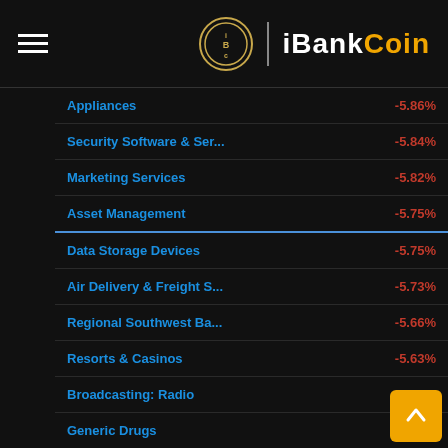iBankCoin
| Sector | Change |
| --- | --- |
| Appliances | -5.86% |
| Security Software & Ser... | -5.84% |
| Marketing Services | -5.82% |
| Asset Management | -5.75% |
| Data Storage Devices | -5.75% |
| Air Delivery & Freight S... | -5.73% |
| Regional Southwest Ba... | -5.66% |
| Resorts & Casinos | -5.63% |
| Broadcasting: Radio | -5.61% |
| Generic Drugs | -5.60% |
| Real Estate Development | -5.59% |
| Advertising Agencies | -5.54% |
| Telecom Services (Fore... | -5.52% |
| Credit Services | -5.51% |